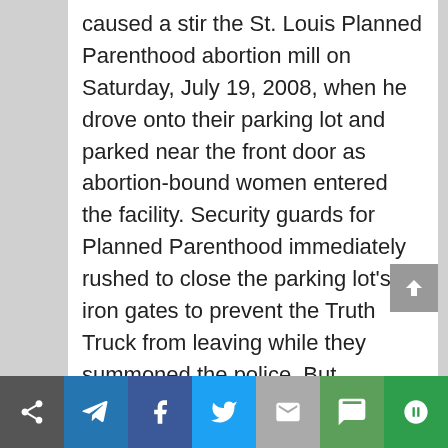caused a stir the St. Louis Planned Parenthood abortion mill on Saturday, July 19, 2008, when he drove onto their parking lot and parked near the front door as abortion-bound women entered the facility. Security guards for Planned Parenthood immediately rushed to close the parking lot's iron gates to prevent the Truth Truck from leaving while they summoned the police. But
[Figure (infographic): Social media sharing bar at the bottom with icons: share, Telegram, Facebook, Twitter, email, SMS, and another share icon. Colors: gray, blue, dark blue, light blue, gray, green, dark green.]